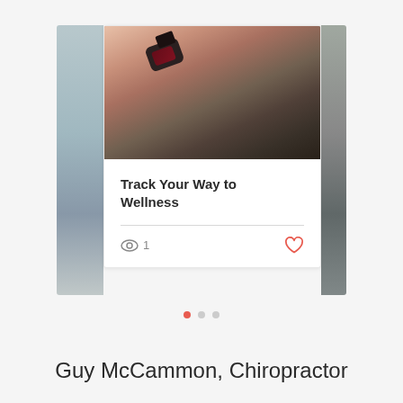[Figure (screenshot): A mobile app carousel showing a blog card titled 'Track Your Way to Wellness'. The center card features a photo of a person tying their shoe while wearing a fitness tracker/smartwatch. Below the photo is the article title in bold, a horizontal divider, and a row with an eye icon showing '1' view count and a heart (like) icon in coral/red. Partially visible side cards appear on left and right edges.]
1
Track Your Way to Wellness
Guy McCammon, Chiropractor